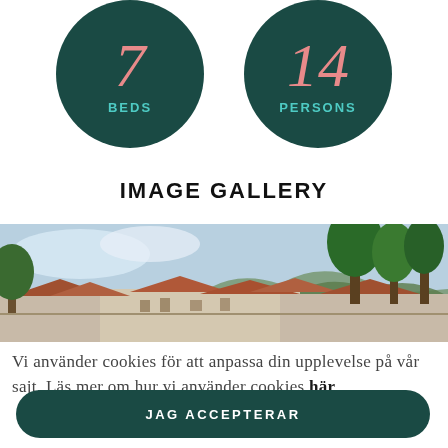[Figure (infographic): Two dark teal circles. Left circle: large number 7 in pink serif italic, label BEDS in teal. Right circle: large number 14 in pink serif italic, label PERSONS in teal.]
IMAGE GALLERY
[Figure (photo): A panoramic photograph of a Mediterranean-style stone village with terracotta rooftops, surrounded by green trees and a rocky hillside under a blue sky.]
Vi använder cookies för att anpassa din upplevelse på vår sajt. Läs mer om hur vi använder cookies här
JAG ACCEPTERAR